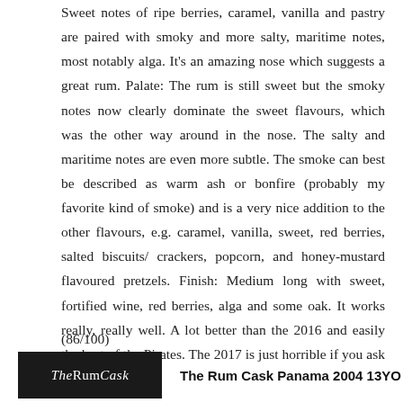Sweet notes of ripe berries, caramel, vanilla and pastry are paired with smoky and more salty, maritime notes, most notably alga. It's an amazing nose which suggests a great rum. Palate: The rum is still sweet but the smoky notes now clearly dominate the sweet flavours, which was the other way around in the nose. The salty and maritime notes are even more subtle. The smoke can best be described as warm ash or bonfire (probably my favorite kind of smoke) and is a very nice addition to the other flavours, e.g. caramel, vanilla, sweet, red berries, salted biscuits/ crackers, popcorn, and honey-mustard flavoured pretzels. Finish: Medium long with sweet, fortified wine, red berries, alga and some oak. It works really, really well. A lot better than the 2016 and easily the best of the Pirates. The 2017 is just horrible if you ask me. (86/100)
[Figure (logo): The Rum Cask logo — dark background with white serif text]
The Rum Cask Panama 2004 13YO